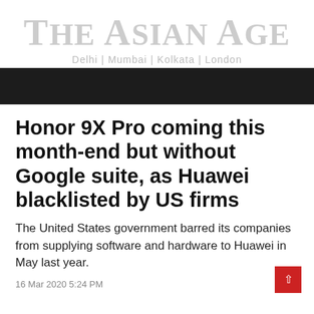The Asian Age
Delhi | Mumbai | Kolkata | London
Honor 9X Pro coming this month-end but without Google suite, as Huawei blacklisted by US firms
The United States government barred its companies from supplying software and hardware to Huawei in May last year.
16 Mar 2020 5:24 PM